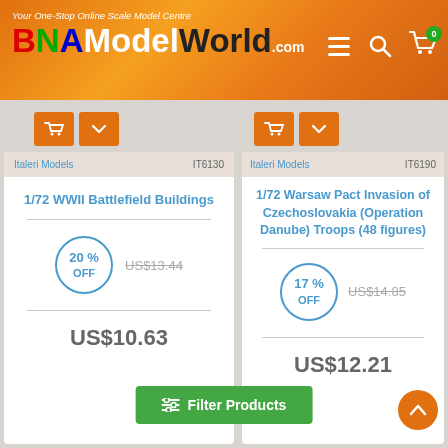Your One-Stop Online Scale Model Centre | BNAModelWorld.com
Italeri Models IT6130
1/72 WWII Battlefield Buildings
20 % OFF  US$13.44  US$10.63
Italeri Models IT6190
1/72 Warsaw Pact Invasion of Czechoslovakia (Operation Danube) Troops (48 figures)
17 % OFF  US$14.85  US$12.21
[Figure (photo): WWII soldiers figurines product photo]
[Figure (photo): WWII aircraft model product photo]
Filter Products